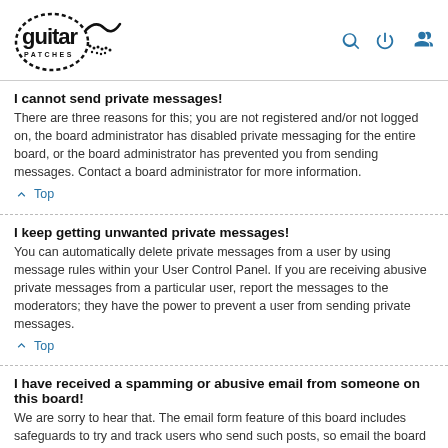[Figure (logo): Guitar Patches logo - circular dashed border with 'guitar' text and 'patches' below, with squiggle mark]
I cannot send private messages!
There are three reasons for this; you are not registered and/or not logged on, the board administrator has disabled private messaging for the entire board, or the board administrator has prevented you from sending messages. Contact a board administrator for more information.
Top
I keep getting unwanted private messages!
You can automatically delete private messages from a user by using message rules within your User Control Panel. If you are receiving abusive private messages from a particular user, report the messages to the moderators; they have the power to prevent a user from sending private messages.
Top
I have received a spamming or abusive email from someone on this board!
We are sorry to hear that. The email form feature of this board includes safeguards to try and track users who send such posts, so email the board administrator with a full copy of the email you received. It is very important that this includes the headers that contain the details of the user that sent the